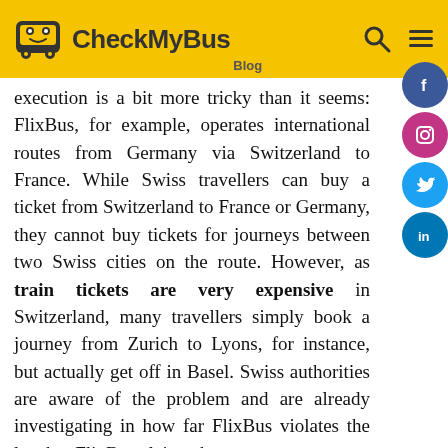CheckMyBus Blog
execution is a bit more tricky than it seems: FlixBus, for example, operates international routes from Germany via Switzerland to France. While Swiss travellers can buy a ticket from Switzerland to France or Germany, they cannot buy tickets for journeys between two Swiss cities on the route. However, as train tickets are very expensive in Switzerland, many travellers simply book a journey from Zurich to Lyons, for instance, but actually get off in Basel. Swiss authorities are aware of the problem and are already investigating in how far FlixBus violates the law but FlixBus claims that customers cannot be held hostage on board of a coach and if they want to get off, then they should be allowed to. In order to avoid going to court for this, FlixBus is currently